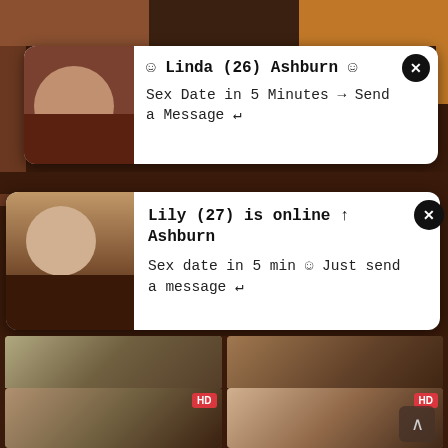[Figure (photo): Top row of three video thumbnails]
[Figure (photo): Ad popup 1: Left partial photo thumbnail beside white popup card. Close X button top right.]
☺ Linda (26) Ashburn ☺
Sex Date in 5 Minutes → Send a Message ↵
[Figure (photo): Ad popup 2: Photo of woman on left, white card with text. Close X button top right.]
Lily (27) is online ↑ Ashburn
Sex date in 5 min ☺ Just send a message ↵
[Figure (photo): Left video thumbnail: bedroom/laundry scene. 65% thumbs up. Duration 11:20. Caption: Lina Luxa – in a new scene by]
[Figure (photo): Right video thumbnail: desk/table scene. 46% thumbs down. Duration 14:57. Caption: MyDirtyHobby– Melinas]
[Figure (photo): Bottom left video thumbnail: HD. Two people at table.]
[Figure (photo): Bottom right video thumbnail: HD. Woman lying on bed. Scroll-to-top arrow button.]